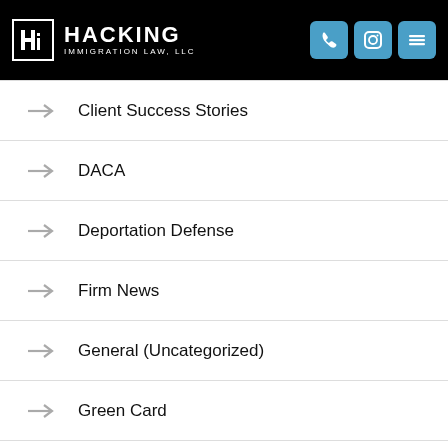[Figure (logo): Hacking Immigration Law LLC logo with black header bar and blue icon buttons]
Client Success Stories
DACA
Deportation Defense
Firm News
General (Uncategorized)
Green Card
Immigration News